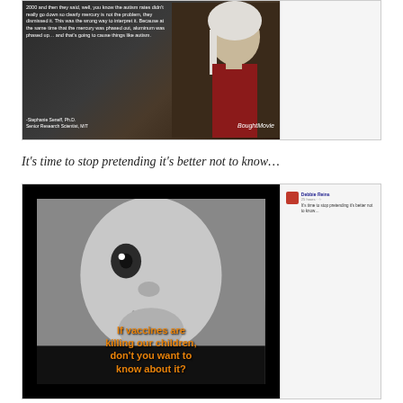[Figure (screenshot): Facebook screenshot showing a video still of Stephanie Seneff, Ph.D., Senior Research Scientist at MIT, from BoughtMovie. Quote text discusses mercury and autism rates and aluminum. Right sidebar shows Facebook sharing panel.]
It's time to stop pretending it's better not to know…
[Figure (screenshot): Facebook screenshot showing a video still from boughtmovie.com featuring a black and white baby face with orange text reading 'If vaccines are killing our children, don't you want to know about it?' Right sidebar shows a Facebook post by Debbie Reins repeating 'It's time to stop pretending it's better not to know…']